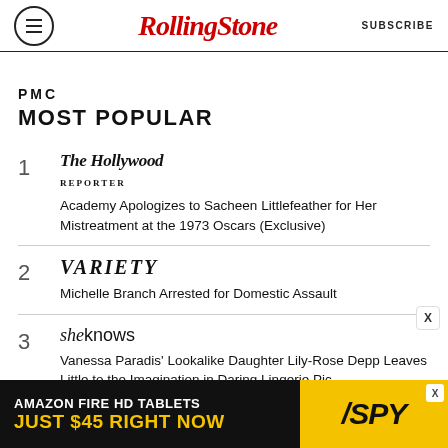Rolling Stone | SUBSCRIBE
PMC MOST POPULAR
1. The Hollywood Reporter — Academy Apologizes to Sacheen Littlefeather for Her Mistreatment at the 1973 Oscars (Exclusive)
2. Variety — Michelle Branch Arrested for Domestic Assault
3. SheKnows — Vanessa Paradis' Lookalike Daughter Lily-Rose Depp Leaves Little to the Imagination in Daring Lingerie Pic
4. MIRC (partial)
[Figure (infographic): Amazon Fire HD Tablets advertisement banner — black background with yellow text reading AMAZON FIRE HD TABLETS / JUST $45 RIGHT NOW, with SPY logo on yellow background]